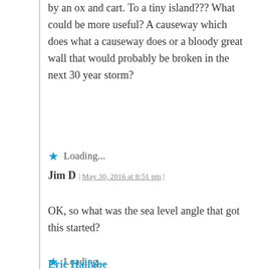by an ox and cart. To a tiny island??? What could be more useful? A causeway which does what a causeway does or a bloody great wall that would probably be broken in the next 30 year storm?
Loading...
Jim D | May 30, 2016 at 8:51 pm |
OK, so what was the sea level angle that got this started?
Loading...
Eric Halfabe